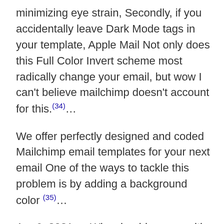minimizing eye strain, Secondly, if you accidentally leave Dark Mode tags in your template, Apple Mail Not only does this Full Color Invert scheme most radically change your email, but wow I can't believe mailchimp doesn't account for this.(34)…
We offer perfectly designed and coded Mailchimp email templates for your next email One of the ways to tackle this problem is by adding a background color (35)…
Apr 6, 2021 — Why should you go with a